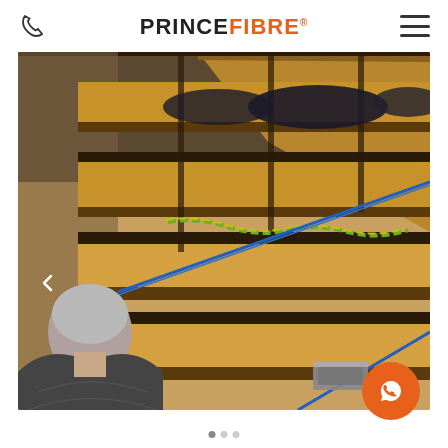PRINCE FIBRE
[Figure (photo): Worker operating a textile/fibre manufacturing machine with wooden components, coloured guide cords (green-yellow and blue), in an industrial plant setting.]